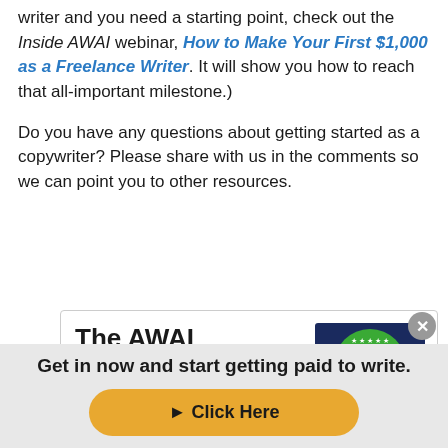writer and you need a starting point, check out the Inside AWAI webinar, How to Make Your First $1,000 as a Freelance Writer. It will show you how to reach that all-important milestone.)
Do you have any questions about getting started as a copywriter? Please share with us in the comments so we can point you to other resources.
[Figure (illustration): The AWAI Method product card with green circular logo and dark blue background showing 'The AWAI Method' text, beside bold title text reading 'The AWAI Method™ for']
Get in now and start getting paid to write.
► Click Here